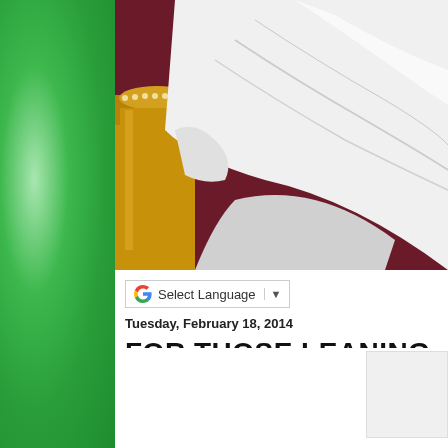[Figure (photo): Close-up photo of white papal vestments/robes with a gold ornate chair or throne visible on the left side, dark maroon/purple background]
[Figure (screenshot): Google Translate 'Select Language' dropdown widget with Google G logo]
Tuesday, February 18, 2014
FOR THOSE LEANING EXCLUSIVELY BARKING UP THE WRONG LITURGY